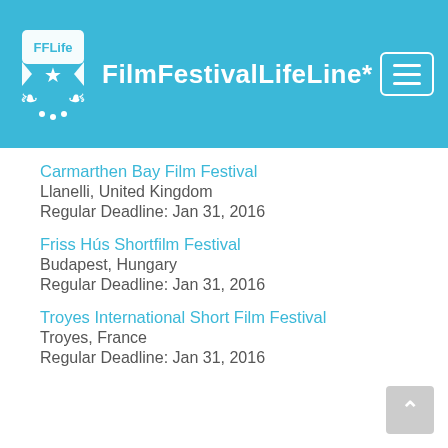FilmFestivalLifeLine*
Carmarthen Bay Film Festival
Llanelli, United Kingdom
Regular Deadline: Jan 31, 2016
Friss Hús Shortfilm Festival
Budapest, Hungary
Regular Deadline: Jan 31, 2016
Troyes International Short Film Festival
Troyes, France
Regular Deadline: Jan 31, 2016
Early Bird
San Francisco Black Film Festival